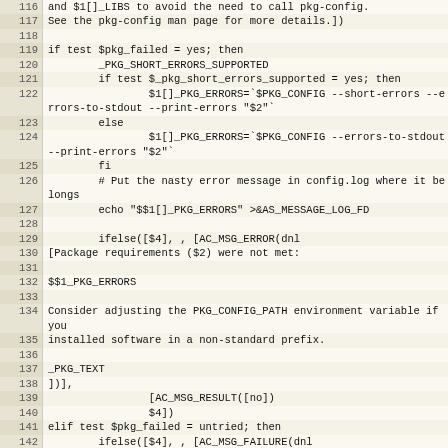[Figure (screenshot): Source code listing showing shell/autoconf script lines 116–144, with line numbers in a beige left column and code in a monospace font on a light cream background.]